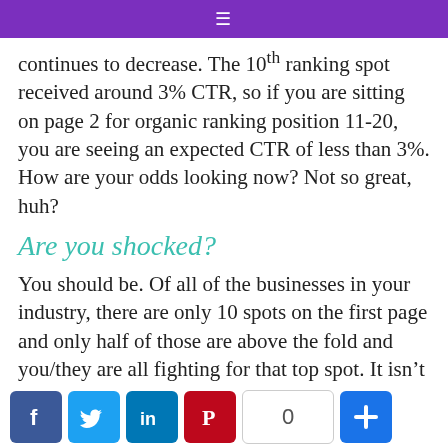≡
continues to decrease.  The 10th ranking spot received around 3% CTR, so if you are sitting on page 2 for organic ranking position 11-20, you are seeing an expected CTR of less than 3%.  How are your odds looking now? Not so great, huh?
Are you shocked?
You should be. Of all of the businesses in your industry, there are only 10 spots on the first page and only half of those are above the fold and you/they are all fighting for that top spot.  It isn't easy and it won't happen overnight, but you need to be realistic and realize that you have your work cut out for you.
Social share bar: Facebook, Twitter, LinkedIn, Pinterest, 0, +